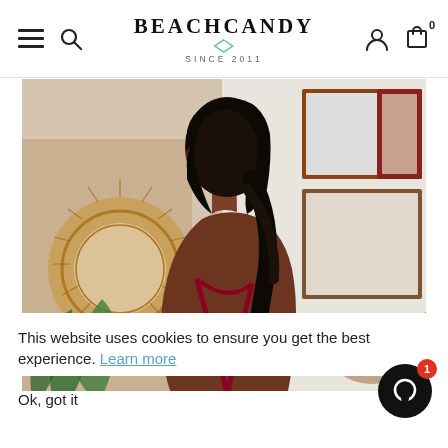BEACHCANDY SINCE 2011
[Figure (photo): Woman with black bob hairstyle seen from behind, wearing a dark red/burgundy swimsuit top with crossed straps, in a room with framed artwork and a rattan sunburst mirror on the wall, green palm leaves visible.]
This website uses cookies to ensure you get the best experience. Learn more
Ok, got it